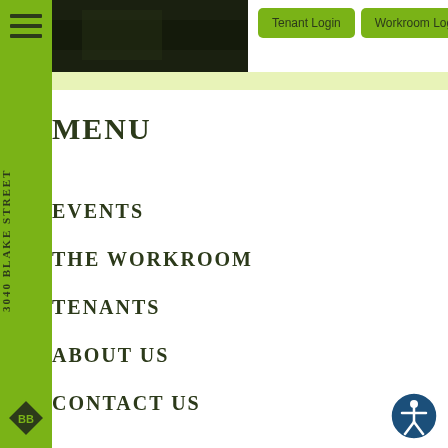[Figure (screenshot): Dark photograph showing an outdoor area, partial view]
Tenant Login
Workroom Login
3040 BLAKE STREET
MENU
EVENTS
THE WORKROOM
TENANTS
ABOUT US
CONTACT US
[Figure (logo): BB diamond logo in dark green]
[Figure (logo): Blue accessibility icon circle with human figure]